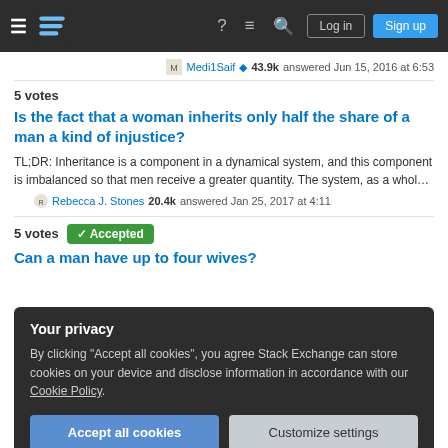Stack Exchange navigation bar with logo, help, chat, search, Log in, Sign up
Medi1Saif ◆ 43.9k answered Jun 15, 2016 at 6:53
5 votes
Is the fact that a woman inherits only half the share of a man a kind of injustice?
TL;DR: Inheritance is a component in a dynamical system, and this component is imbalanced so that men receive a greater quantity. The system, as a whol…
Rebecca J. Stones 20.4k answered Jan 25, 2017 at 4:11
5 votes Accepted
Can a man have up to four wives?
Your privacy
By clicking "Accept all cookies", you agree Stack Exchange can store cookies on your device and disclose information in accordance with our Cookie Policy.
Accept all cookies
Customize settings
illness"?